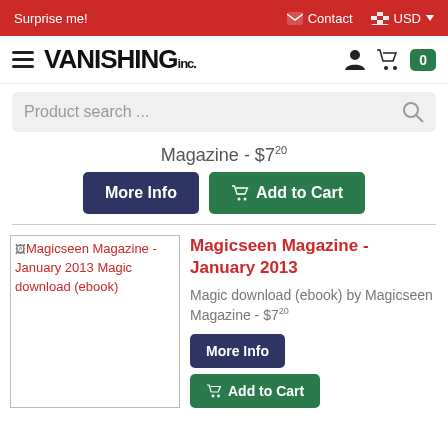Surprise me! | Contact | USD
VANISHING inc.
Product search ...
Magazine - $7.20
More Info | Add to Cart
[Figure (screenshot): Broken image placeholder for Magicseen Magazine - January 2013 Magic download (ebook)]
Magicseen Magazine - January 2013
Magic download (ebook) by Magicseen Magazine - $7.20
More Info | Add to Cart